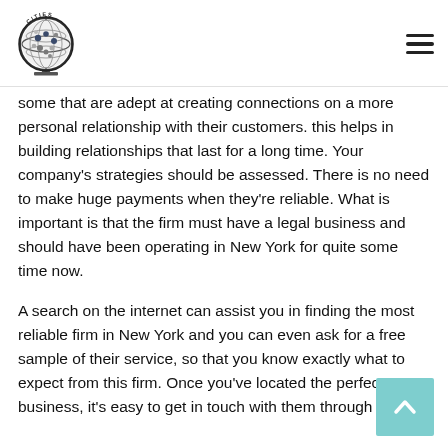Cities globe logo and hamburger menu
some that are adept at creating connections on a more personal relationship with their customers. this helps in building relationships that last for a long time. Your company's strategies should be assessed. There is no need to make huge payments when they're reliable. What is important is that the firm must have a legal business and should have been operating in New York for quite some time now.
A search on the internet can assist you in finding the most reliable firm in New York and you can even ask for a free sample of their service, so that you know exactly what to expect from this firm. Once you've located the perfect business, it's easy to get in touch with them through the